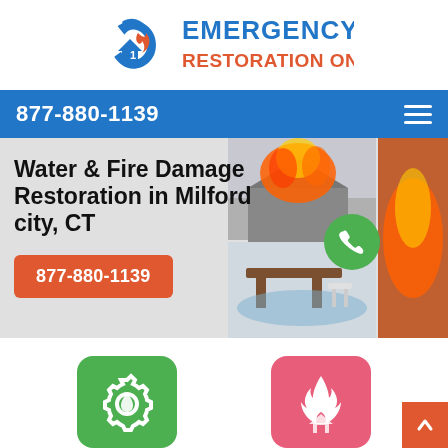[Figure (logo): Emergency Restoration One logo with flame icon and house/water drop shape, blue and orange text]
877-880-1139
Water & Fire Damage Restoration in Milford city, CT
877-880-1139
[Figure (photo): Hero banner with fire damage house image on top right and flooded room image on bottom right, with green phone circle]
[Figure (illustration): Green rounded square icon with gear/water restoration symbol]
[Figure (illustration): Pink/red rounded square icon with fire and house symbol]